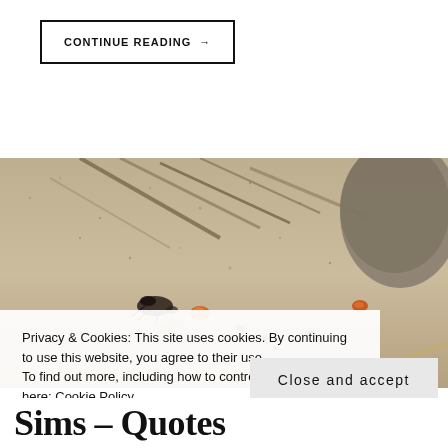CONTINUE READING →
[Figure (photo): Close-up photograph of sand with insects, twigs, small stones, and an orange-red gemstone or piece of amber on a sandy beach surface.]
Privacy & Cookies: This site uses cookies. By continuing to use this website, you agree to their use.
To find out more, including how to control cookies, see here: Cookie Policy
Close and accept
Sims – Quotes